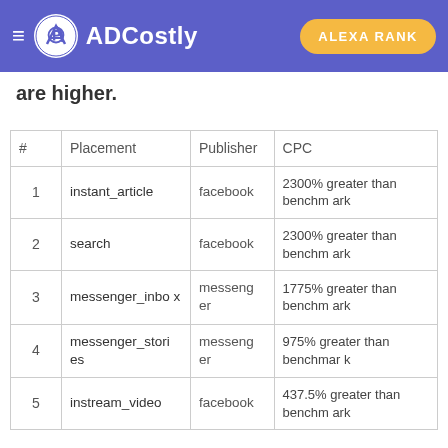ADCostly — ALEXA RANK
are higher.
| # | Placement | Publisher | CPC |
| --- | --- | --- | --- |
| 1 | instant_article | facebook | 2300% greater than benchmark |
| 2 | search | facebook | 2300% greater than benchmark |
| 3 | messenger_inbox | messenger | 1775% greater than benchmark |
| 4 | messenger_stories | messenger | 975% greater than benchmark |
| 5 | instream_video | facebook | 437.5% greater than benchmark |